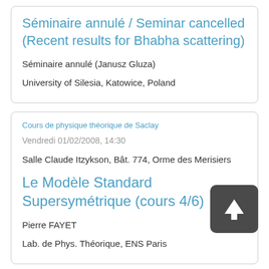Séminaire annulé / Seminar cancelled (Recent results for Bhabha scattering)
Séminaire annulé (Janusz Gluza)
University of Silesia, Katowice, Poland
Cours de physique théorique de Saclay
Vendredi 01/02/2008, 14:30
Salle Claude Itzykson, Bât. 774, Orme des Merisiers
Le Modèle Standard Supersymétrique (cours 4/6)
Pierre FAYET
Lab. de Phys. Théorique, ENS Paris